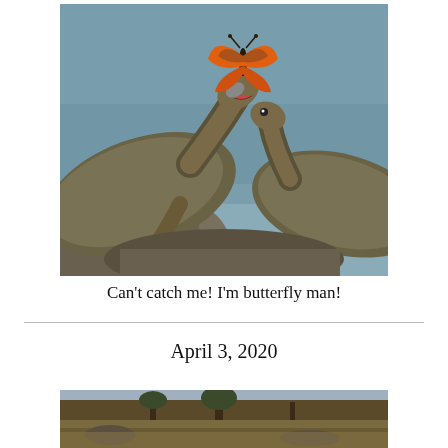[Figure (photo): Two turtles facing each other with a monarch butterfly perched on the nose of one turtle, which has its mouth open. Outdoor scene with water in background.]
Can't catch me! I'm butterfly man!
April 3, 2020
[Figure (photo): Outdoor landscape scene with trees and dry ground, partially visible at bottom of page.]